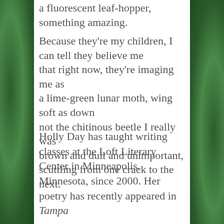a fluorescent leaf-hopper, something amazing.
Because they're my children, I can tell they believe me
that right now, they're imaging me as
a lime-green lunar moth, wing soft as down
not the chitinous beetle I really was
brown and dull and unimportant,
scuttling from one crack to the next.
Holly Day has taught writing classes at the Loft Literary Center in Minneapolis, Minnesota, since 2000. Her poetry has recently appeared in Tampa